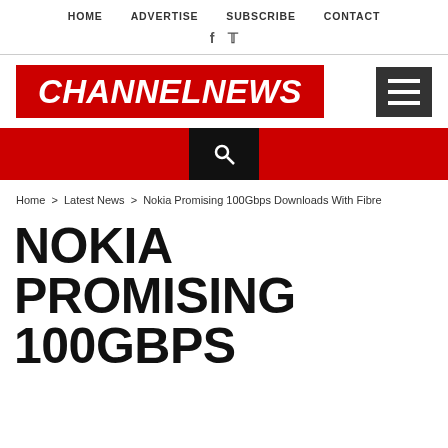HOME   ADVERTISE   SUBSCRIBE   CONTACT
[Figure (logo): CHANNELNEWS logo in white bold italic text on red background with hamburger menu icon]
[Figure (infographic): Red navigation bar with black search box in center containing magnifying glass icon]
Home > Latest News > Nokia Promising 100Gbps Downloads With Fibre
NOKIA PROMISING 100GBPS